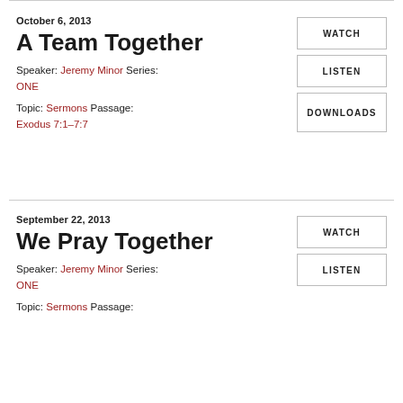October 6, 2013
A Team Together
Speaker: Jeremy Minor Series: ONE
Topic: Sermons Passage: Exodus 7:1–7:7
WATCH
LISTEN
DOWNLOADS
September 22, 2013
We Pray Together
Speaker: Jeremy Minor Series: ONE
Topic: Sermons Passage:
WATCH
LISTEN